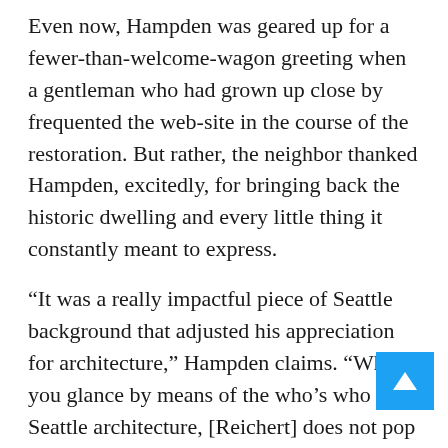Even now, Hampden was geared up for a fewer-than-welcome-wagon greeting when a gentleman who had grown up close by frequented the web-site in the course of the restoration. But rather, the neighbor thanked Hampden, excitedly, for bringing back the historic dwelling and every little thing it constantly meant to express.
“It was a really impactful piece of Seattle background that adjusted his appreciation for architecture,” Hampden claims. “When you glance by means of the who’s who of Seattle architecture, [Reichert] does not pop up like Paul Thiry or [Paul H.] Kirk, but he was influential and taught at the college … and was truly pushing the boundaries. It is a piece of Seattle background that does not a large amount of airplay, but I assume influenced a lot of some.”